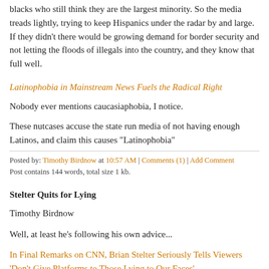blacks who still think they are the largest minority. So the media treads lightly, trying to keep Hispanics under the radar by and large. If they didn't there would be growing demand for border security and not letting the floods of illegals into the country, and they know that full well.
Latinophobia in Mainstream News Fuels the Radical Right
Nobody ever mentions caucasiaphobia, I notice.
These nutcases accuse the state run media of not having enough Latinos, and claim this causes "Latinophobia"
Posted by: Timothy Birdnow at 10:57 AM | Comments (1) | Add Comment
Post contains 144 words, total size 1 kb.
Stelter Quits for Lying
Timothy Birdnow
Well, at least he's following his own advice...
In Final Remarks on CNN, Brian Stelter Seriously Tells Viewers 'Don't Give Platforms to Those Lying to Our Faces'
westernjournal.com